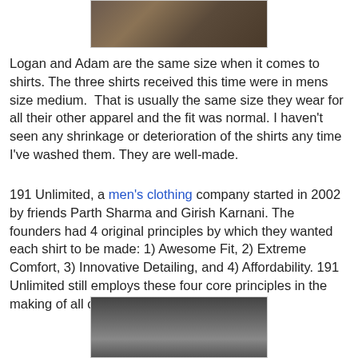[Figure (photo): Photo of two people wearing plaid/checkered shirts, cropped to show upper body]
Logan and Adam are the same size when it comes to shirts. The three shirts received this time were in mens size medium.  That is usually the same size they wear for all their other apparel and the fit was normal. I haven't seen any shrinkage or deterioration of the shirts any time I've washed them. They are well-made.
191 Unlimited, a men's clothing company started in 2002 by friends Parth Sharma and Girish Karnani. The founders had 4 original principles by which they wanted each shirt to be made: 1) Awesome Fit, 2) Extreme Comfort, 3) Innovative Detailing, and 4) Affordability. 191 Unlimited still employs these four core principles in the making of all of its products.
[Figure (photo): Photo of a child or person wearing a white outfit, partially cropped at bottom of page]